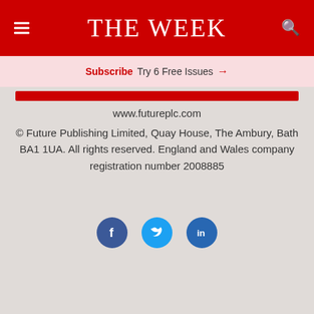THE WEEK
Subscribe Try 6 Free Issues →
www.futureplc.com
© Future Publishing Limited, Quay House, The Ambury, Bath BA1 1UA. All rights reserved. England and Wales company registration number 2008885
[Figure (other): Social media icons: Facebook, Twitter, LinkedIn]